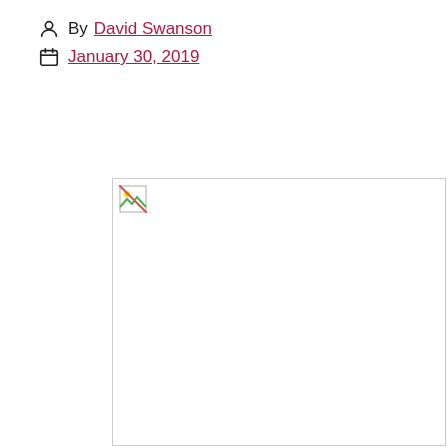Post author By David Swanson
Post date January 30, 2019
[Figure (photo): Broken/missing image placeholder with small broken-image icon in top-left corner, bordered box]